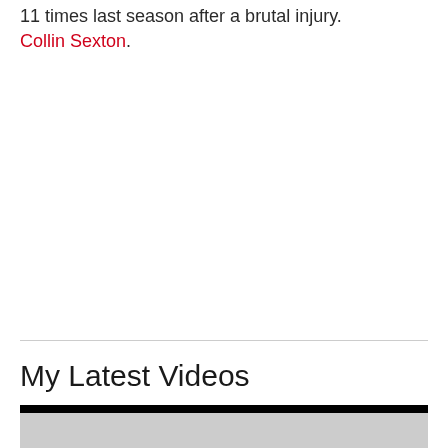11 times last season after a brutal injury. Collin Sexton.
My Latest Videos
[Figure (screenshot): Video player thumbnail area with black top bar and grey content area below]